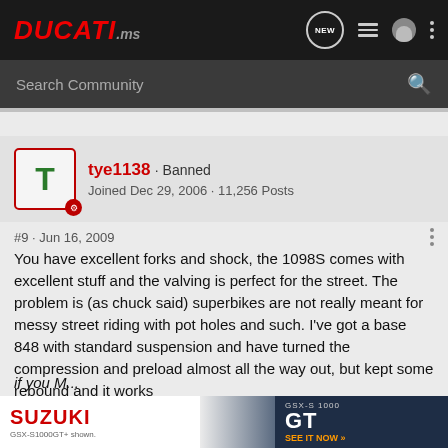DUCATI.ms
Search Community
tye1138 · Banned
Joined Dec 29, 2006 · 11,256 Posts
#9 · Jun 16, 2009
You have excellent forks and shock, the 1098S comes with excellent stuff and the valving is perfect for the street. The problem is (as chuck said) superbikes are not really meant for messy street riding with pot holes and such. I've got a base 848 with standard suspension and have turned the compression and preload almost all the way out, but kept some rebound and it works
[Figure (other): Suzuki GSX-S1000GT advertisement banner showing a motorcycle with 'GSX-S 1000 GT SEE IT NOW' text]
if you M...